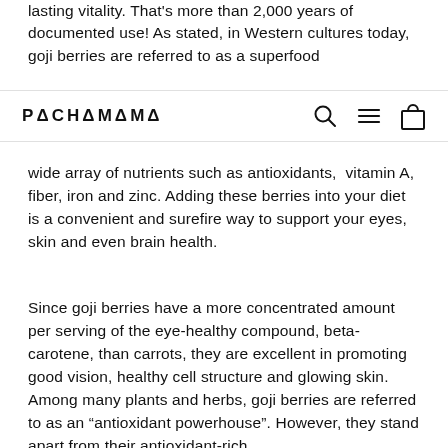lasting vitality. That's more than 2,000 years of documented use! As stated, in Western cultures today, goji berries are referred to as a superfood
PACHAMAMA
wide array of nutrients such as antioxidants, vitamin A, fiber, iron and zinc. Adding these berries into your diet is a convenient and surefire way to support your eyes, skin and even brain health.
Since goji berries have a more concentrated amount per serving of the eye-healthy compound, beta-carotene, than carrots, they are excellent in promoting good vision, healthy cell structure and glowing skin. Among many plants and herbs, goji berries are referred to as an “antioxidant powerhouse”. However, they stand apart from their antioxidant-rich